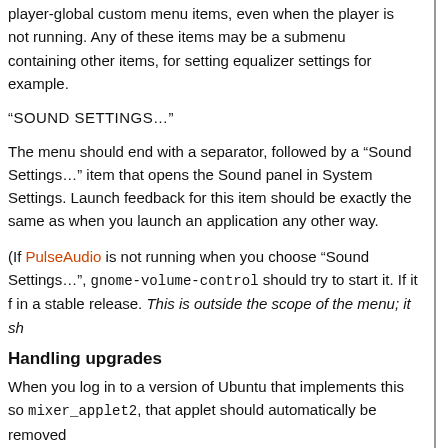player-global custom menu items, even when the player is not running. Any of these items may be a submenu containing other items, for setting equalizer settings for example.
“SOUND SETTINGS…”
The menu should end with a separator, followed by a “Sound Settings…” item that opens the Sound panel in System Settings. Launch feedback for this item should be exactly the same as when you launch an application any other way.
(If PulseAudio is not running when you choose “Sound Settings…”, gnome-volume-control should try to start it. If it f in a stable release. This is outside the scope of the menu; it sh
Handling upgrades
When you log in to a version of Ubuntu that implements this so mixer_applet2, that applet should automatically be removed
Music player integration
REGISTRATION PROCESS